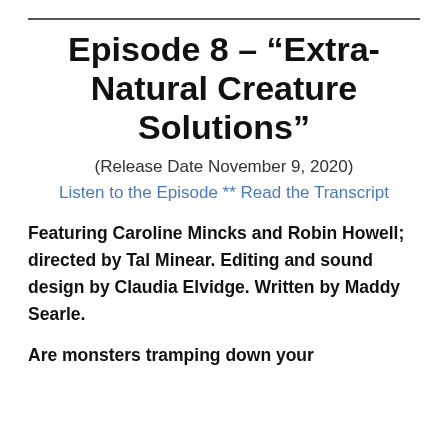Episode 8 – “Extra-Natural Creature Solutions”
(Release Date November 9, 2020)
Listen to the Episode ** Read the Transcript
Featuring Caroline Mincks and Robin Howell; directed by Tal Minear. Editing and sound design by Claudia Elvidge. Written by Maddy Searle.
Are monsters tramping down your